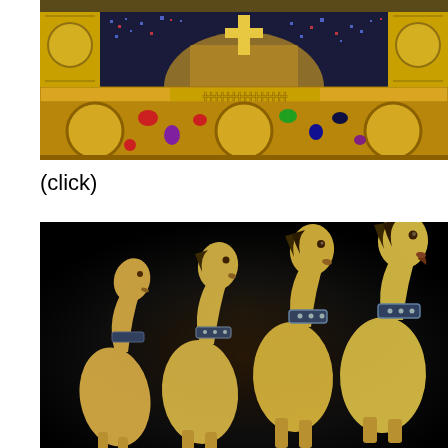[Figure (photo): Close-up photograph of a jeweled reliquary or medieval decorative object, featuring gold metalwork with inlaid gemstones including blue, red, purple, and green stones, and intricate mosaic or enamel patterns with geometric designs.]
(click)
[Figure (photo): Photograph of four golden bronze horse sculptures against a dark black background. The horses wear decorative collars and are shown in a row, depicting the famous Horses of Saint Mark (Triumphal Quadriga) from Venice.]